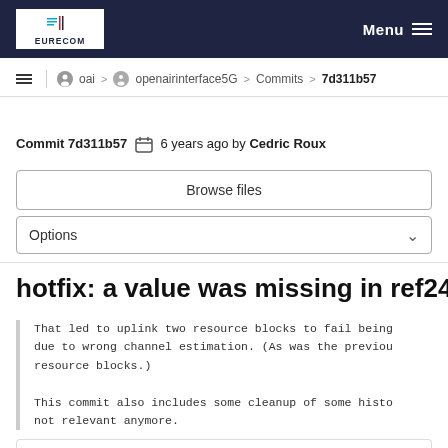EURECOM | Menu
≡ | oai > openairinterface5G > Commits > 7d311b57
Commit 7d311b57  6 years ago by Cedric Roux
Browse files
Options
hotfix: a value was missing in ref24
That led to uplink two resource blocks to fail being
due to wrong channel estimation. (As was the previou
resource blocks.)

This commit also includes some cleanup of some histo
not relevant anymore.